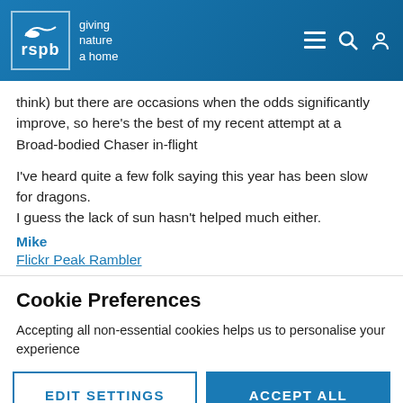RSPB - giving nature a home
think) but there are occasions when the odds significantly improve, so here's the best of my recent attempt at a Broad-bodied Chaser in-flight
I've heard quite a few folk saying this year has been slow for dragons.
I guess the lack of sun hasn't helped much either.
Mike
Flickr Peak Rambler
Cookie Preferences
Accepting all non-essential cookies helps us to personalise your experience